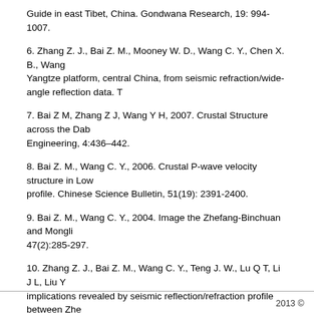Guide in east Tibet, China. Gondwana Research, 19: 994-1007.
6. Zhang Z. J., Bai Z. M., Mooney W. D., Wang C. Y., Chen X. B., Wang … Yangtze platform, central China, from seismic refraction/wide-angle reflection data. T
7. Bai Z M, Zhang Z J, Wang Y H, 2007. Crustal Structure across the Dab… Engineering, 4:436–442.
8. Bai Z. M., Wang C. Y., 2006. Crustal P-wave velocity structure in Low… profile. Chinese Science Bulletin, 51(19): 2391-2400.
9. Bai Z. M., Wang C. Y., 2004. Image the Zhefang-Binchuan and Mongli… 47(2):285-297.
10. Zhang Z. J., Bai Z. M., Wang C. Y., Teng J. W., Lu Q T, Li J L, Liu Y … implications revealed by seismic reflection/refraction profile between Zhe…
Zhang Z. J., Bai Z. M., Wang C. Y., Teng J. W., Lu Q. T., Li J. L., Sun S. X., … example by wide-angle seismic profile from Menglian to Malong in Western…
2013 ©